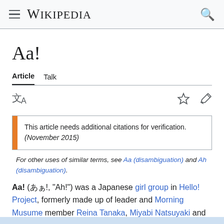Wikipedia
Aa!
Article  Talk
This article needs additional citations for verification. (November 2015)
For other uses of similar terms, see Aa (disambiguation) and Ah (disambiguation).
Aa! (あぁ!, "Ah!") was a Japanese girl group in Hello! Project, formerly made up of leader and Morning Musume member Reina Tanaka, Miyabi Natsuyaki and Airi Suzuki, two Hello! Project Kids.